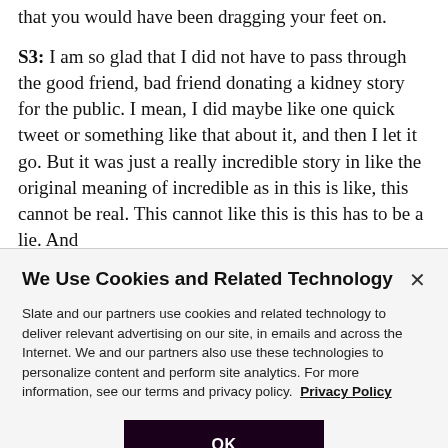that you would have been dragging your feet on.
S3: I am so glad that I did not have to pass through the good friend, bad friend donating a kidney story for the public. I mean, I did maybe like one quick tweet or something like that about it, and then I let it go. But it was just a really incredible story in like the original meaning of incredible as in this is like, this cannot be real. This cannot like this is this has to be a lie. And
We Use Cookies and Related Technology
Slate and our partners use cookies and related technology to deliver relevant advertising on our site, in emails and across the Internet. We and our partners also use these technologies to personalize content and perform site analytics. For more information, see our terms and privacy policy.  Privacy Policy